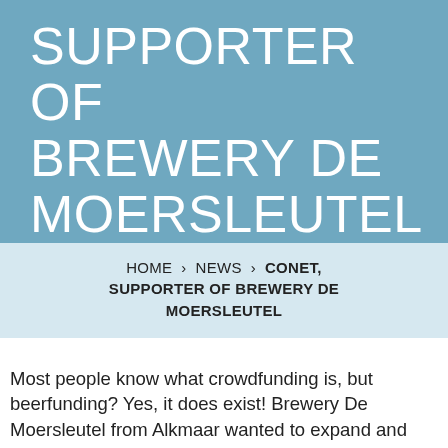SUPPORTER OF BREWERY DE MOERSLEUTEL
HOME › NEWS › CONET, SUPPORTER OF BREWERY DE MOERSLEUTEL
Most people know what crowdfunding is, but beerfunding? Yes, it does exist! Brewery De Moersleutel from Alkmaar wanted to expand and created a beer fund promotion to make that happen. Beer, beer engineers, beerfunding; it sounded like music to our ears. No doubt CoNet wanted to support De Moersleutel